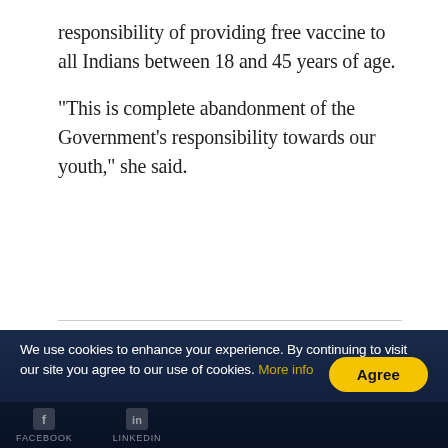responsibility of providing free vaccine to all Indians between 18 and 45 years of age.
"This is complete abandonment of the Government's responsibility towards our youth," she said.
ADVERTISEMENT
We use cookies to enhance your experience. By continuing to visit our site you agree to our use of cookies. More info